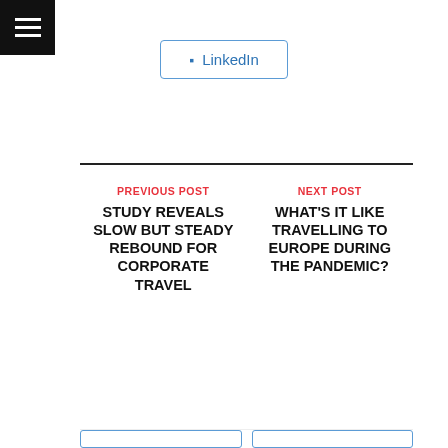[Figure (other): Hamburger menu icon (three white horizontal lines on black background) in top-left corner]
LinkedIn (button with LinkedIn icon and border)
PREVIOUS POST
STUDY REVEALS SLOW BUT STEADY REBOUND FOR CORPORATE TRAVEL
NEXT POST
WHAT'S IT LIKE TRAVELLING TO EUROPE DURING THE PANDEMIC?